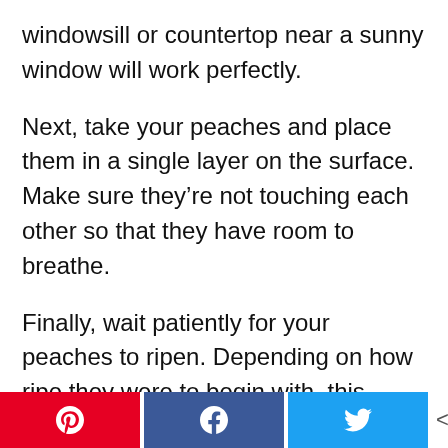windowsill or countertop near a sunny window will work perfectly.
Next, take your peaches and place them in a single layer on the surface. Make sure they’re not touching each other so that they have room to breathe.
Finally, wait patiently for your peaches to ripen. Depending on how ripe they were to begin with, this could take anywhere from
[Figure (other): Social share bar with Pinterest (red), Facebook (blue), Twitter (light blue) buttons and a share count showing 0 SHARES]